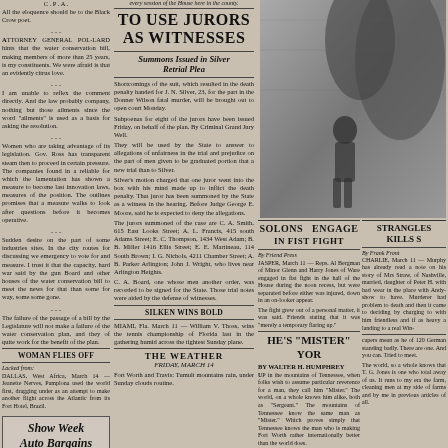All the eloquence should be to the Black Crow poet.
ATTORNEY GENERAL POL-LARD hints that the water conservation bill, making members of more than 25 years, is my constituents. We were afraid is that an evidently citrus love.
I am unable to reflex the comment directly. And the law probably company, nothing but these ailments since the word 'ailments' is used as a basis for asking the resolution.
Women who are taking advantage of its legislation. Gov. Ross has transparent steam then to proceed in private pressure. The companies found in a reliable for which the lamentation has shown a measure to become last innovation laws, measures of their position. The outlines promises that a measure walks to look after questions before it becomes operative.
Sudden desire on the part of some industries sites. In the city routes for discussing we emergency to vote for and measure. I trust it that the capacity, hard war said by the gun Board and other houses of the water conservation bill to meet the news for that than some for way, some some gone.
The failure of the passage of a bill by the legislature will not make a failure of the water conservation plan, and they of quite work for the benefit of the plan.
WOMAN FLIES OFF
DALLAS, West Africa, March 14 — Jeanette Nerves, Pamplona used the world first, dragging under as an attempt to make another flight across the Atlantic from its Fort Hotel, Brazil.
TO USE JURORS AS WITNESSES
Summons Issued in Silver Retrial Plea
Shortcomings of the suit, which resulted in the death penalty handed for J. N. Silver, 23, for the part in the Donner Wilson fatal murder, will be brought out to open court Monday.
Subpoenas for eight of the jurors have been issued Friday, on behalf of the plan. By Criminal Grand Jury Well.
They will be used by the State to answer to allegations of unfairness in the trial and prejudice on the part of men given to be graduated portion that a new trial than to Silver.
Silver's motion charged that one juror went into the box with his mind made up to inflict the death penalty. That juror has been summoned by the State as a witness in the hearing. Before Judge George E. Moore, said he is expected to deny the allegations.
The jurors summoned of the case are C. A. Smith, 615 East Looks Street; A. L. Francis, 415 south Adams Street; E. C. Thompson, 1434 West Adam; B. B. Miller 1416 Ellis Street; E. E. Martineau, 114 South Brown; I. G. Nichols, 4211 Chamber Street; A. B. Parker Arlington; John J. Wright, who lives near Arlington Heights.
C. A. Board, one whose men another order, was recorded to be signed for the State. These trial notes were aided by the Defense of witnesses.
SILKEN WINS BOLD
MIAMI, Fla. March 11 — William V. Thoss, wins the tennis championship of Florida last in the gathering humid across the tightest Sunday plane.
THE WEATHER
FRIDAY, MARCH 14
Fort Worth and Travis: Tumult mountains rain, under Sunday clouds routine.
[Figure (photo): Black and white photograph of a person, appears to be a woman in dress/skirt standing near a tree or wall]
SOLONS ENGAGE STRANGLES IN FIST FIGHT KILLS S
JASPER, March 11 — Reps. Al Bergman of Minor Glenn and Harry Jones of Ware engaged in fist fight in the hall of the House during the noon recess, but were separated before either was injured, down in an on-looker appear.
The fight grew out of a personal matter, it was said. Friends stating that it was 'merely a temporary flaring up.'
HE'S "MISTER" YOR
BY WALTER H. HUMPHREY
UP in the mountains of Tennessee, when folks wish to assume particular reverence for a man, they call him "Mister." The world, on a whole knows him alike, both as "Sergeant." The mountains of Tennessee knew the same man as "Mister." Which proves simply that Tennessee knows the man who is making Fort Worth rather internationally better than the world does.
I never have, said Sergeant...
120 German troops badly. There are one. And you can be. Tried to make an.
The world, as a whole, knows that T. D. Jones is one who boot many of us. It runs in my end, to the farm, clearing men at my side of homes and to me in previous particular of all.
[Figure (photo): Portrait photograph of a person, likely Sergeant/Mister York]
BY FRANK FRONT
CHARLIE, March 11 — Murphy has already read a note on his story of Mrs Straw, of Nashville, married, daughter of Peter H. with had wear in the place with Andy-show to have. Murderer had problem to death and then it came to deciding by charging to with him friendless and if as heavy a landing to a real Win-
HE'S "MISTER" YOR
BY WALTER H. HUMPHREY
capers mean as he of 120 German standing badly. There are one. And you can. Tried to meet.
The world, so a whole knows that T. G. Jones is one who total away of us. It runs to my era the farm, cleaning men at my side of farms and by me in previous articles of all.
[Figure (photo): Black and white photo, portrait]
STRANGLES KILLS S
BY FRANK FRONT
CHARLIE, March 11 — Murphy has already...
Show Week Auto Bargains
Fort Worth's leading automobile concerns are advertising some closes road notices in the First Champion.